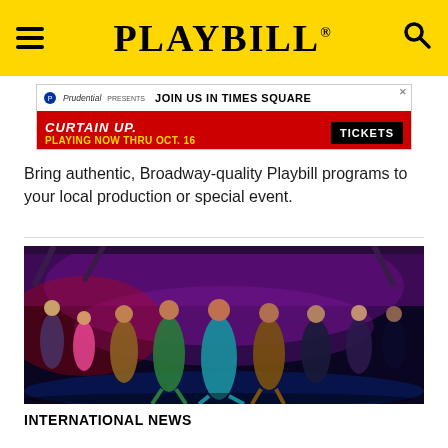PLAYBILL
[Figure (photo): Prudential presents Curtain Up advertisement: JOIN US IN TIMES SQUARE, PLAYING NOW THRU OCT. 16, TICKETS]
Bring authentic, Broadway-quality Playbill programs to your local production or special event.
[Figure (photo): Broadway musical stage performance photo showing a large cast of dancers and performers on stage with dramatic purple and red lighting]
INTERNATIONAL NEWS